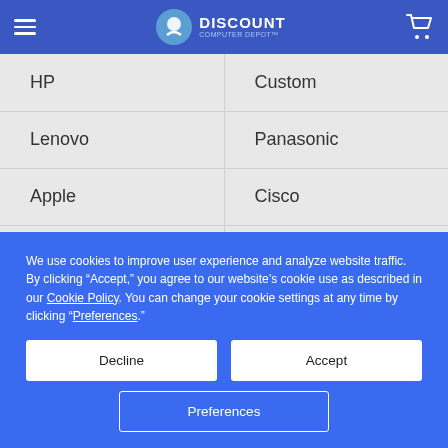DISCOUNT COMPUTER DEPOT
HP
Custom
Lenovo
Panasonic
Apple
Cisco
Intel
View All
We use cookies to improve user experience and analyze website traffic. By clicking “Accept,” you agree to our website’s cookie use as described in our Cookie Policy. You can change your cookie settings at any time by clicking “Preferences.”